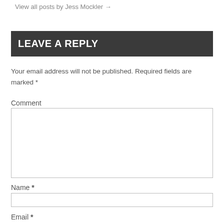View all posts by Jess Mockler →
LEAVE A REPLY
Your email address will not be published. Required fields are marked *
Comment
Name *
Email *